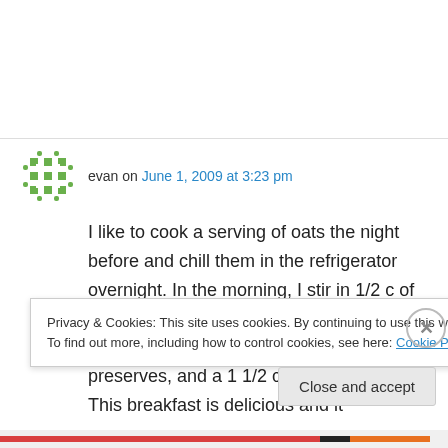evan on June 1, 2009 at 3:23 pm
I like to cook a serving of oats the night before and chill them in the refrigerator overnight. In the morning, I stir in 1/2 c of 0% greek yogurt, a tablespoon of crunchy peanut butter, a tablespoon of raspberry preserves, and a 1 1/2 c of raspberries. This breakfast is delicious and it
Privacy & Cookies: This site uses cookies. By continuing to use this website, you agree to their use.
To find out more, including how to control cookies, see here: Cookie Policy
Close and accept